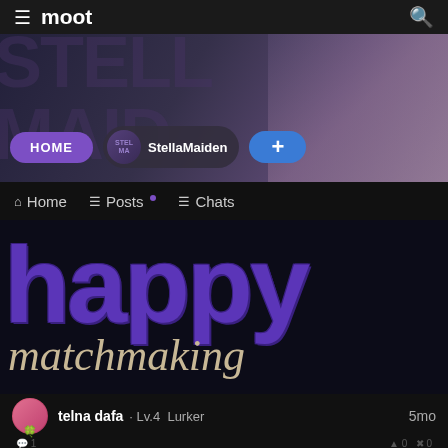≡ moot
[Figure (screenshot): App banner area with blurred anime character background, HOME button, StellaMaiden community pill, and + add button]
Home  Posts  Chats
[Figure (photo): Dark background image with large purple bold text 'happy' and cream/beige italic serif text 'matchmaking' below it]
telna dafa · Lv.4 Lurker  5mo